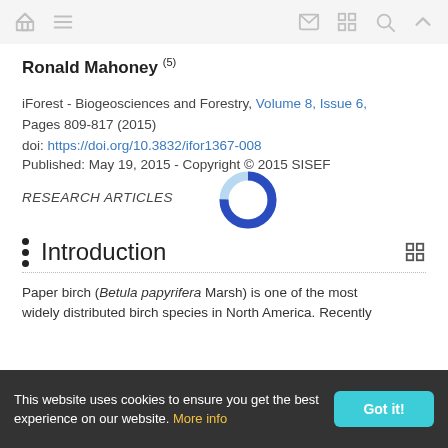Navigation bar with home, menu, mail, grid, search, up icons
Ronald Mahoney (5)
iForest - Biogeosciences and Forestry, Volume 8, Issue 6, Pages 809-817 (2015)
doi: https://doi.org/10.3832/ifor1367-008
Published: May 19, 2015 - Copyright © 2015 SISEF
RESEARCH ARTICLES
Introduction
Paper birch (Betula papyrifera Marsh) is one of the most widely distributed birch species in North America. Recently
This website uses cookies to ensure you get the best experience on our website. More info